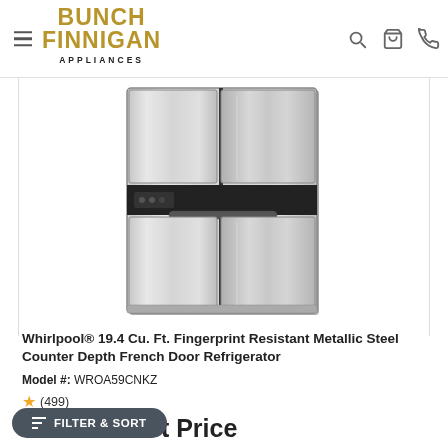BUNCH FINNIGAN APPLIANCES
[Figure (photo): Whirlpool 4-door French door refrigerator in fingerprint resistant metallic steel finish, showing two upper doors and two lower doors with a black control panel strip across the middle]
Whirlpool® 19.4 Cu. Ft. Fingerprint Resistant Metallic Steel Counter Depth French Door Refrigerator
Model #: WROA59CNKZ
★ (499)
Call for Best Price